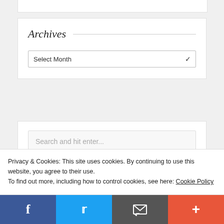Archives
Select Month
Search and hit enter...
Privacy & Cookies: This site uses cookies. By continuing to use this website, you agree to their use.
To find out more, including how to control cookies, see here: Cookie Policy